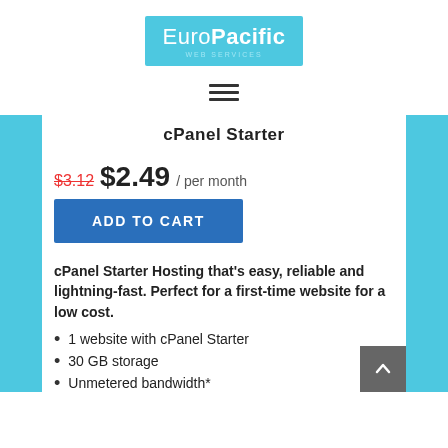[Figure (logo): EuroPacific Web Services logo - blue/teal square with white text]
[Figure (other): Hamburger menu icon with three horizontal lines]
cPanel Starter
$3.12 $2.49 / per month
ADD TO CART
cPanel Starter Hosting that's easy, reliable and lightning-fast. Perfect for a first-time website for a low cost.
1 website with cPanel Starter
30 GB storage
Unmetered bandwidth*